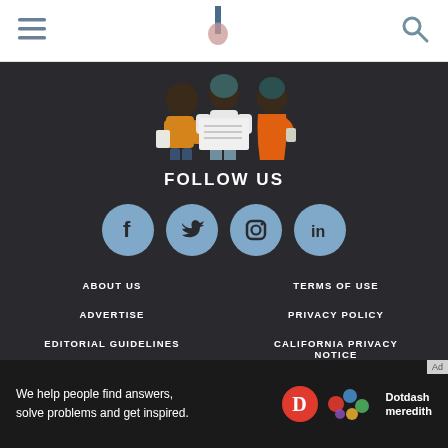Navigation header with hamburger menu, logo, and search icon
[Figure (illustration): Three women standing together in conversation, illustrated characters on dark background. One in yellow, one in white/grey, one in orange dress.]
FOLLOW US
[Figure (infographic): Four social media icons in light blue circles: Facebook, Twitter, Instagram, LinkedIn]
ABOUT US
TERMS OF USE
ADVERTISE
PRIVACY POLICY
EDITORIAL GUIDELINES
CALIFORNIA PRIVACY NOTICE
[Figure (logo): Dotdash Meredith advertisement bar: 'We help people find answers, solve problems and get inspired.' with Dotdash Meredith logo]